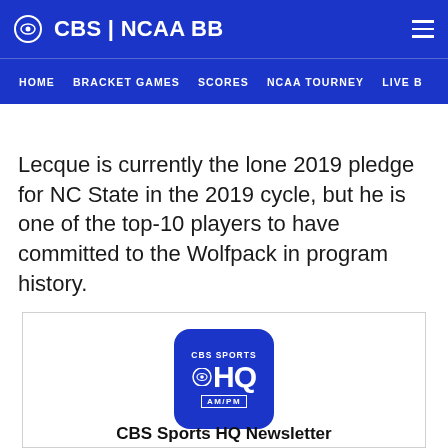CBS | NCAA BB
HOME  BRACKET GAMES  SCORES  NCAA TOURNEY  LIVE B
Lecque is currently the lone 2019 pledge for NC State in the 2019 cycle, but he is one of the top-10 players to have committed to the Wolfpack in program history.
[Figure (logo): CBS Sports HQ AM/PM logo — blue square with rounded corners, CBS eye icon, HQ text, AM/PM badge]
CBS Sports HQ Newsletter